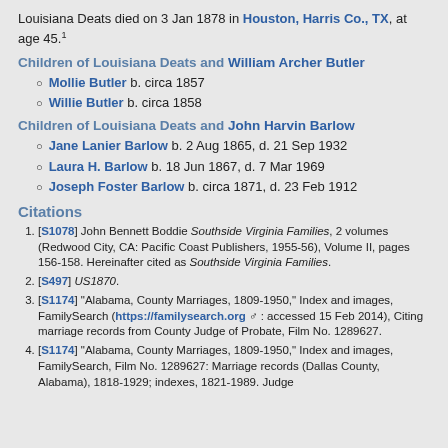Louisiana Deats died on 3 Jan 1878 in Houston, Harris Co., TX, at age 45.¹
Children of Louisiana Deats and William Archer Butler
Mollie Butler b. circa 1857
Willie Butler b. circa 1858
Children of Louisiana Deats and John Harvin Barlow
Jane Lanier Barlow b. 2 Aug 1865, d. 21 Sep 1932
Laura H. Barlow b. 18 Jun 1867, d. 7 Mar 1969
Joseph Foster Barlow b. circa 1871, d. 23 Feb 1912
Citations
[S1078] John Bennett Boddie Southside Virginia Families, 2 volumes (Redwood City, CA: Pacific Coast Publishers, 1955-56), Volume II, pages 156-158. Hereinafter cited as Southside Virginia Families.
[S497] US1870.
[S1174] "Alabama, County Marriages, 1809-1950," Index and images, FamilySearch (https://familysearch.org : accessed 15 Feb 2014), Citing marriage records from County Judge of Probate, Film No. 1289627.
[S1174] "Alabama, County Marriages, 1809-1950," Index and images, FamilySearch, Film No. 1289627: Marriage records (Dallas County, Alabama), 1818-1929; indexes, 1821-1989. Judge...